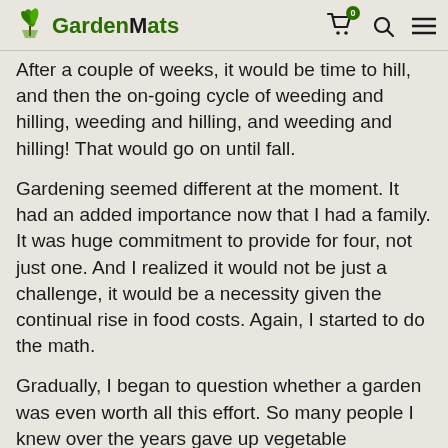GardenMats
After a couple of weeks, it would be time to hill, and then the on-going cycle of weeding and hilling, weeding and hilling, and weeding and hilling!  That would go on until fall.
Gardening seemed different at the moment.  It had an added importance now that I had a family.   It was huge commitment to provide for four, not just one.  And I realized it would not be just a challenge, it would be a necessity given the continual rise in food costs.  Again, I started to do the math.
Gradually, I began to question whether a garden was even worth all this effort.  So many people I knew over the years gave up vegetable gardening because it ate up too much of their time – away from spending time with